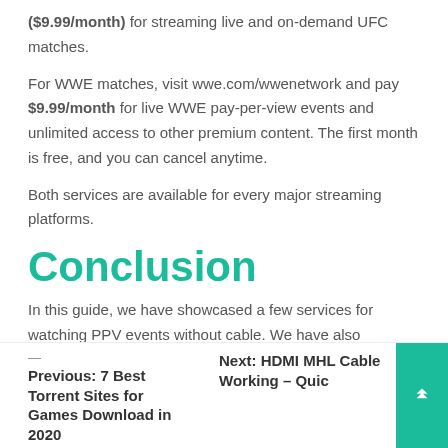($9.99/month) for streaming live and on-demand UFC matches.
For WWE matches, visit wwe.com/wwenetwork and pay $9.99/month for live WWE pay-per-view events and unlimited access to other premium content. The first month is free, and you can cancel anytime.
Both services are available for every major streaming platforms.
Conclusion
In this guide, we have showcased a few services for watching PPV events without cable. We have also included pricing to help you decide. We expect to see more options for viewing PPV events in the near future.
Previous: 7 Best Torrent Sites for Games Download in 2020 | Next: HDMI MHL Cable Working – Quic